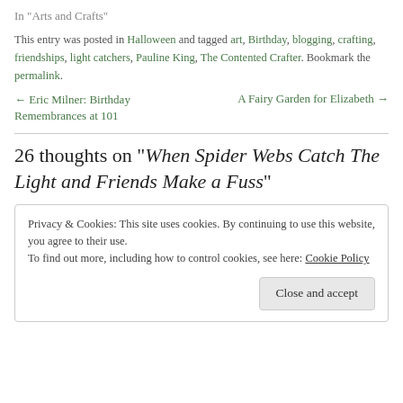In "Arts and Crafts"
This entry was posted in Halloween and tagged art, Birthday, blogging, crafting, friendships, light catchers, Pauline King, The Contented Crafter. Bookmark the permalink.
← Eric Milner: Birthday Remembrances at 101
A Fairy Garden for Elizabeth →
26 thoughts on "When Spider Webs Catch The Light and Friends Make a Fuss"
Privacy & Cookies: This site uses cookies. By continuing to use this website, you agree to their use.
To find out more, including how to control cookies, see here: Cookie Policy
Close and accept